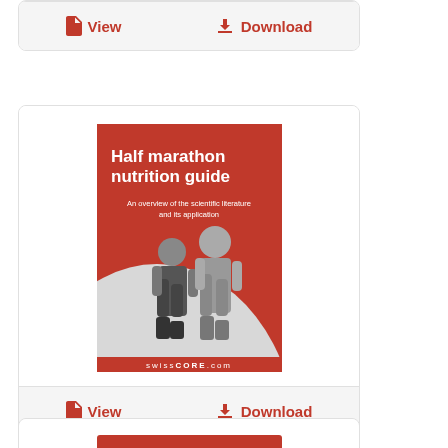[Figure (other): View and Download action bar for first document card (top, partially visible)]
[Figure (other): Book cover card for 'Half marathon nutrition guide' with two runners, red and grey cover design, View and Download buttons]
[Figure (other): Partially visible card at bottom showing 'Nutrition training' red cover header]